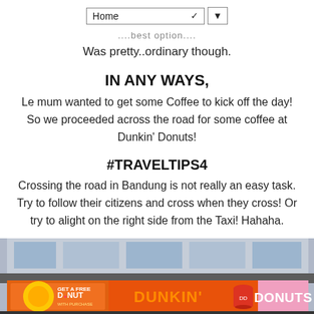Home ▼
....best option.
Was pretty..ordinary though.
IN ANY WAYS,
Le mum wanted to get some Coffee to kick off the day! So we proceeded across the road for some coffee at Dunkin' Donuts!
#TRAVELTIPS4
Crossing the road in Bandung is not really an easy task. Try to follow their citizens and cross when they cross! Or try to alight on the right side from the Taxi! Hahaha.
[Figure (photo): Photo of a Dunkin' Donuts storefront/signage with orange branding and logo]